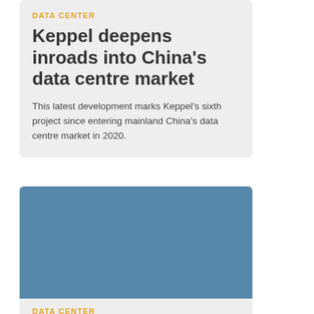DATA CENTER
Keppel deepens inroads into China's data centre market
This latest development marks Keppel's sixth project since entering mainland China's data centre market in 2020.
[Figure (photo): Aerial view of colourful 3D human figure tokens densely packed together in blue, teal, gold/yellow, and red colours, representing a crowd of people.]
DATA CENTER